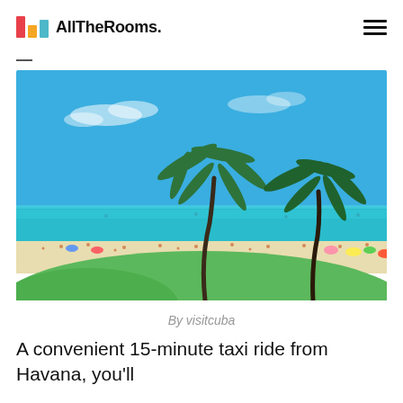AllTheRooms.
[Figure (photo): A tropical beach scene with two tall palm trees bending in the wind, bright blue sky, turquoise water, white sand beach crowded with people, colorful umbrellas, and a green grassy foreground. Photo credit: visitcuba.]
By visitcuba
A convenient 15-minute taxi ride from Havana, you'll